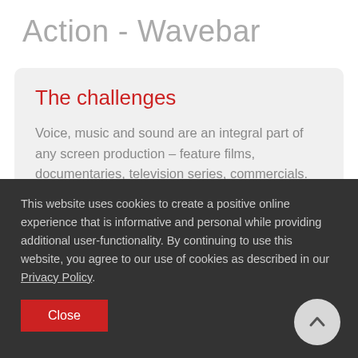Action - Wavebar
The challenges
Voice, music and sound are an integral part of any screen production – feature films, documentaries, television series, commercials. For a successful production and scene cuts, filming in a space that
This website uses cookies to create a positive online experience that is informative and personal while providing additional user-functionality. By continuing to use this website, you agree to our use of cookies as described in our Privacy Policy.
Close